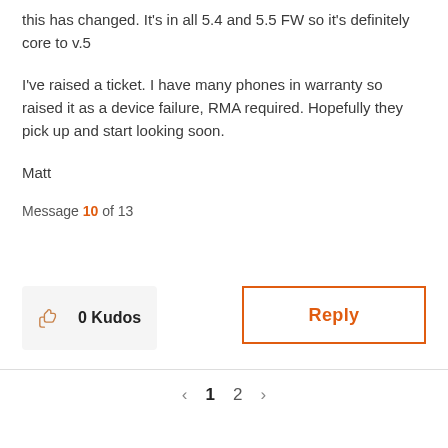this has changed. It's in all 5.4 and 5.5 FW so it's definitely core to v.5
I've raised a ticket. I have many phones in warranty so raised it as a device failure, RMA required. Hopefully they pick up and start looking soon.
Matt
Message 10 of 13
0 Kudos
Reply
1 2